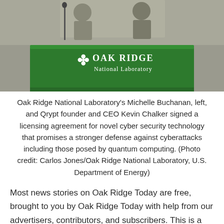[Figure (photo): Photo of people seated at a table covered with a green Oak Ridge National Laboratory branded tablecloth. The ORNL logo with leaf icon is visible on the green cloth. Background shows a room interior.]
Oak Ridge National Laboratory's Michelle Buchanan, left, and Qrypt founder and CEO Kevin Chalker signed a licensing agreement for novel cyber security technology that promises a stronger defense against cyberattacks including those posed by quantum computing. (Photo credit: Carlos Jones/Oak Ridge National Laboratory, U.S. Department of Energy)
Most news stories on Oak Ridge Today are free, brought to you by Oak Ridge Today with help from our advertisers, contributors, and subscribers. This is a free story. Thank you to our advertisers,